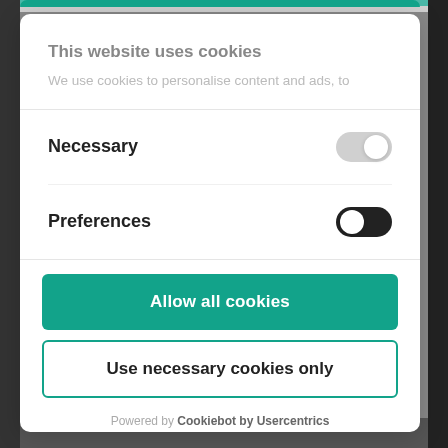This website uses cookies
We use cookies to personalise content and ads, to
Necessary
Preferences
Allow all cookies
Use necessary cookies only
Powered by Cookiebot by Usercentrics